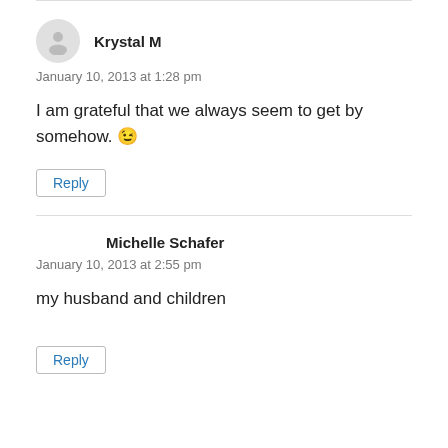Krystal M
January 10, 2013 at 1:28 pm
I am grateful that we always seem to get by somehow. 🙂
Reply
Michelle Schafer
January 10, 2013 at 2:55 pm
my husband and children
Reply